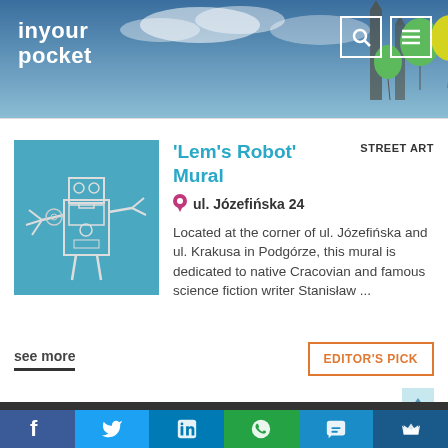inyour pocket
[Figure (photo): Street art mural showing a robot illustration on a blue background]
'Lem's Robot' Mural
STREET ART
ul. Józefińska 24
Located at the corner of ul. Józefińska and ul. Krakusa in Podgórze, this mural is dedicated to native Cracovian and famous science fiction writer Stanisław ...
see more
EDITOR'S PICK